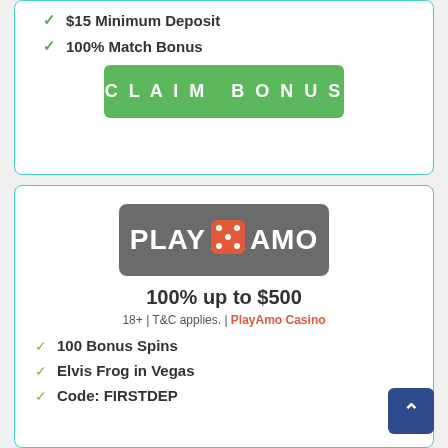✓ $15 Minimum Deposit
✓ 100% Match Bonus
[Figure (other): Green CLAIM BONUS button]
[Figure (logo): PlayAmo Casino logo on grey rounded rectangle background]
100% up to $500
18+ | T&C applies. | PlayAmo Casino
✓ 100 Bonus Spins
✓ Elvis Frog in Vegas
✓ Code: FIRSTDEP